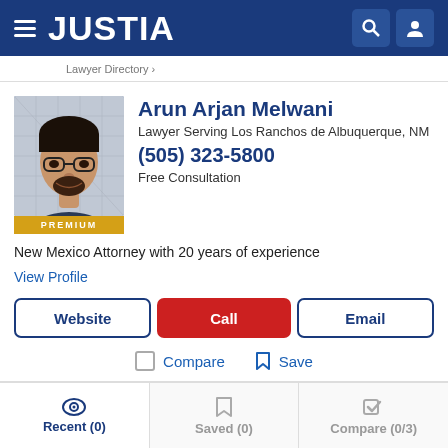JUSTIA
[Figure (screenshot): Justia website header with hamburger menu, JUSTIA logo in white on dark blue background, search and user profile icon buttons]
Lawyer Serving Los Ranchos de Albuquerque, NM
Arun Arjan Melwani
Lawyer Serving Los Ranchos de Albuquerque, NM
(505) 323-5800
Free Consultation
New Mexico Attorney with 20 years of experience
View Profile
Website | Call | Email
Compare    Save
Recent (0)    Saved (0)    Compare (0/3)